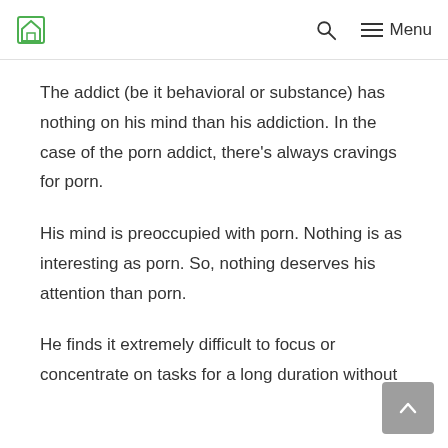Home | Search | Menu
The addict (be it behavioral or substance) has nothing on his mind than his addiction. In the case of the porn addict, there’s always cravings for porn.
His mind is preoccupied with porn. Nothing is as interesting as porn. So, nothing deserves his attention than porn.
He finds it extremely difficult to focus or concentrate on tasks for a long duration without